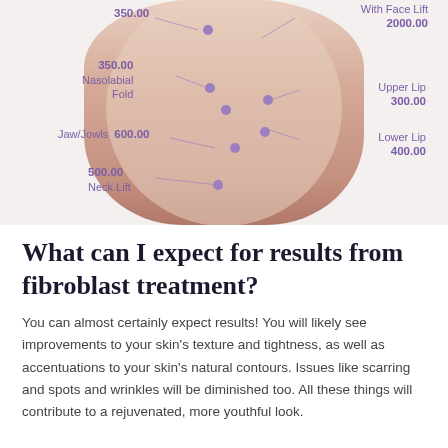[Figure (infographic): Medical/cosmetic infographic showing a woman's face with labeled treatment areas and prices: 350.00 (top left, forehead), 350.00 Nasolabial Fold (left), Jaw/Jowls 600.00 (left), 500.00 Neck Lift (lower left), With Face Lift 2000.00 (top right), Upper Lip 300.00 (right), Lower Lip 400.00 (right). Purple dots mark treatment points on the face connected by thin lines to labels.]
What can I expect for results from fibroblast treatment?
You can almost certainly expect results! You will likely see improvements to your skin's texture and tightness, as well as accentuations to your skin's natural contours. Issues like scarring and spots and wrinkles will be diminished too. All these things will contribute to a rejuvenated, more youthful look.